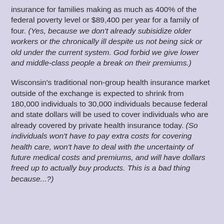insurance for families making as much as 400% of the federal poverty level or $89,400 per year for a family of four. (Yes, because we don't already subisidize older workers or the chronically ill despite us not being sick or old under the current system. God forbid we give lower and middle-class people a break on their premiums.)
Wisconsin's traditional non-group health insurance market outside of the exchange is expected to shrink from 180,000 individuals to 30,000 individuals because federal and state dollars will be used to cover individuals who are already covered by private health insurance today. (So individuals won't have to pay extra costs for covering health care, won't have to deal with the uncertainty of future medical costs and premiums, and will have dollars freed up to actually buy products. This is a bad thing because...?)